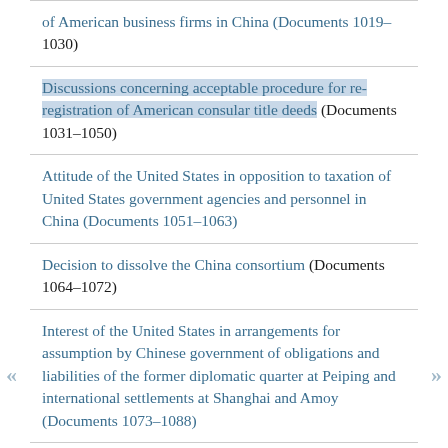of American business firms in China (Documents 1019–1030)
Discussions concerning acceptable procedure for re-registration of American consular title deeds (Documents 1031–1050)
Attitude of the United States in opposition to taxation of United States government agencies and personnel in China (Documents 1051–1063)
Decision to dissolve the China consortium (Documents 1064–1072)
Interest of the United States in arrangements for assumption by Chinese government of obligations and liabilities of the former diplomatic quarter at Peiping and international settlements at Shanghai and Amoy (Documents 1073–1088)
Representations regarding Chinese military occupation of